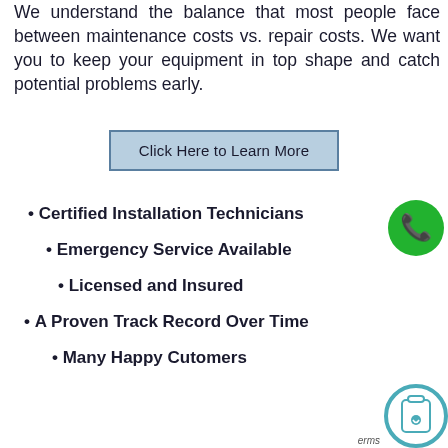We understand the balance that most people face between maintenance costs vs. repair costs. We want you to keep your equipment in top shape and catch potential problems early.
Click Here to Learn More
Certified Installation Technicians
Emergency Service Available
Licensed and Insured
A Proven Track Record Over Time
Many Happy Cutomers